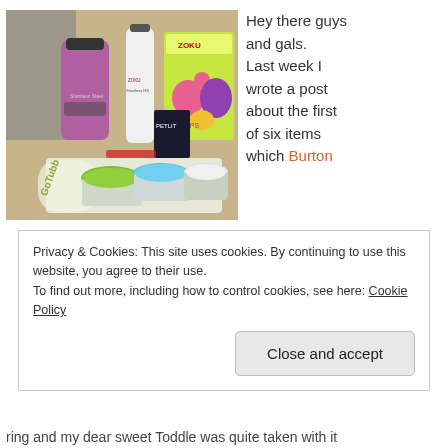[Figure (photo): Photo of Zoku branded products including a purple stainless steel tumbler, white water bottle, Zoku box with animal-shaped popsicle molds, GoTubb containers with colorful lids, and a PetLit item on a wooden table.]
Hey there guys and gals. Last week I wrote a post about the first of six items which Burton
Privacy & Cookies: This site uses cookies. By continuing to use this website, you agree to their use.
To find out more, including how to control cookies, see here: Cookie Policy
Close and accept
ring and my dear sweet Toddle was quite taken with it